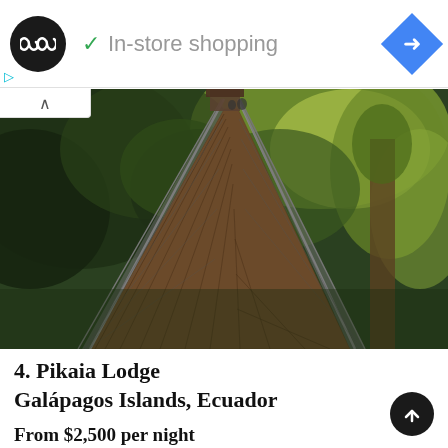[Figure (logo): Black circular logo with infinity/loop symbol, and blue diamond navigation arrow icon, with green checkmark and 'In-store shopping' text in an advertisement bar]
[Figure (photo): Aerial view of a wooden suspension bridge through lush green tropical forest, perspective looking down the length of the bridge into green canopy, with rope mesh sides]
4. Pikaia Lodge
Galápagos Islands, Ecuador
From $2,500 per night